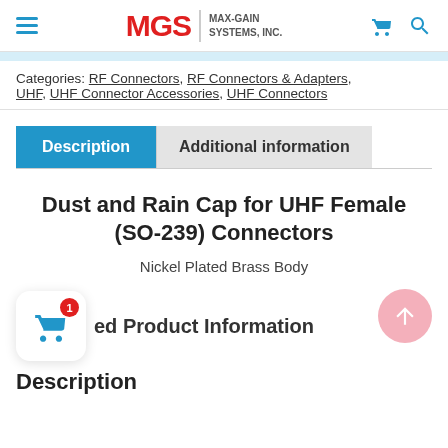MGS MAX-GAIN SYSTEMS, INC.
Categories: RF Connectors, RF Connectors & Adapters, UHF, UHF Connector Accessories, UHF Connectors
Description | Additional information
Dust and Rain Cap for UHF Female (SO-239) Connectors
Nickel Plated Brass Body
ed Product Information
Description